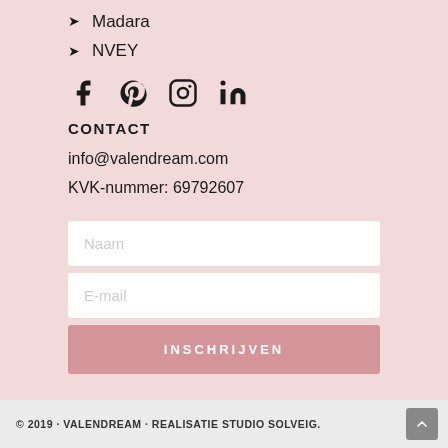Madara
NVEY
[Figure (other): Social media icons: Facebook, Pinterest, Instagram, LinkedIn]
CONTACT
info@valendream.com
KVK-nummer: 69792607
Naam (form input placeholder)
E-mail (form input placeholder)
INSCHRIJVEN (button)
© 2019 · VALENDREAM · REALISATIE STUDIO SOLVEIG.